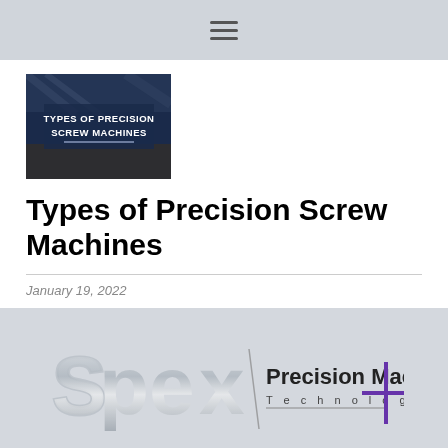≡ (hamburger menu icon)
[Figure (photo): Thumbnail image with text overlay reading TYPES OF PRECISION SCREW MACHINES on a dark blue background with metallic screw machine parts]
Types of Precision Screw Machines
January 19, 2022
[Figure (logo): Spex Precision Machine Technologies logo — silver stylized SPEX text with purple cross accent and company name in black text]